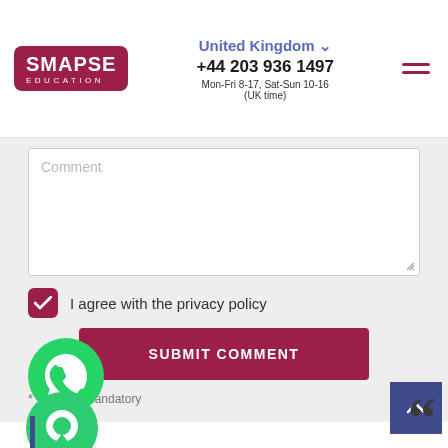[Figure (logo): SMAPSE EDUCATION logo - white text on dark red/maroon rounded rectangle]
United Kingdom ▾
+44 203 936 1497
Mon-Fri 8-17, Sat-Sun 10-16 (UK time)
[Figure (illustration): Hamburger menu icon with two dark red horizontal lines]
Comment
I agree with the privacy policy
SUBMIT COMMENT
* - Field is mandatory
[Figure (illustration): WhatsApp green phone bubble icon]
[Figure (illustration): Green chat bubble icon]
[Figure (illustration): Dark navy blue scroll-to-top button with up arrow]
[Figure (illustration): Large quotation mark in dark grey]